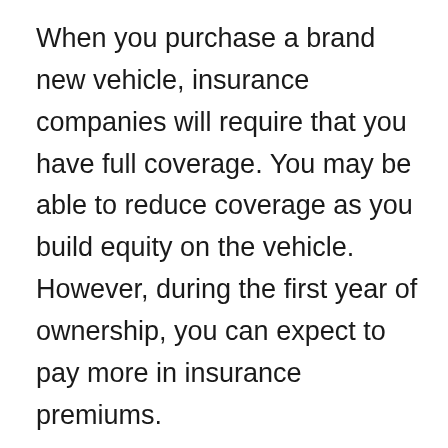When you purchase a brand new vehicle, insurance companies will require that you have full coverage. You may be able to reduce coverage as you build equity on the vehicle. However, during the first year of ownership, you can expect to pay more in insurance premiums.